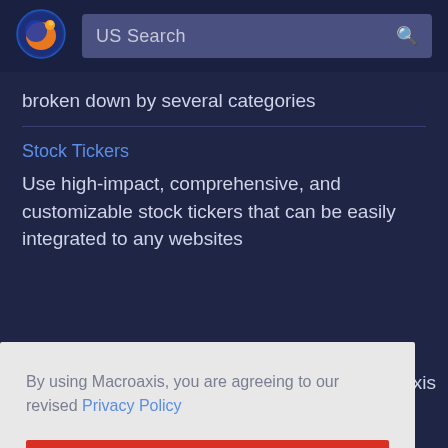[Figure (logo): Macroaxis orange and blue globe logo in circular form]
US Search
broken down by several categories
Stock Tickers
Use high-impact, comprehensive, and customizable stock tickers that can be easily integrated to any websites
By using Macroaxis, you are agreeing to our revised Privacy Policy
OK
axis
investing themes